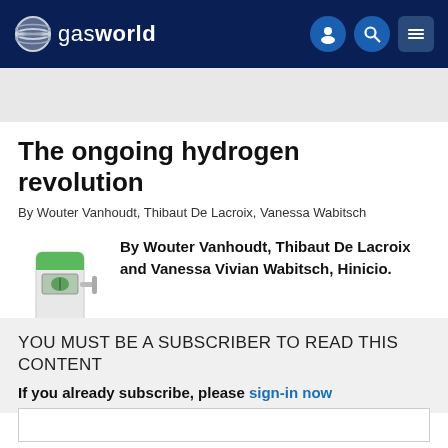gasworld
The ongoing hydrogen revolution
By Wouter Vanhoudt, Thibaut De Lacroix, Vanessa Wabitsch
[Figure (illustration): Green hydrogen fuel pump / dispenser icon]
By Wouter Vanhoudt, Thibaut De Lacroix and Vanessa Vivian Wabitsch, Hinicio.
YOU MUST BE A SUBSCRIBER TO READ THIS CONTENT
If you already subscribe, please sign-in now